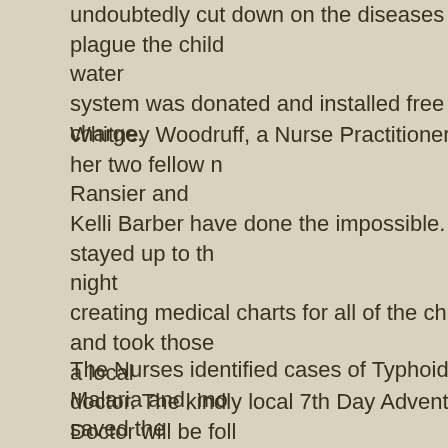undoubtedly cut down on the diseases that plague the children. The water system was donated and installed free of charge.
Whitney Woodruff, a Nurse Practitioner and her two fellow nurses Ransier and Kelli Barber have done the impossible. They stayed up to the night creating medical charts for all of the children and took those to a local doctor. The kindly local 7th Day Adventist Doctor will be following the children's medical needs and even visiting the children at the home on a weekly basis.
The Nurses identified cases of Typhoid and Malaria and, more importantly, saved the sight in one young boy's eye. The boy, J., had been poked in the eye a month before our arrival. He had received no medical attention and his eye had pus and